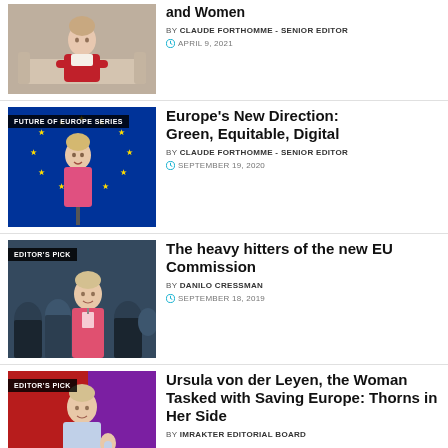[Figure (photo): Woman in red jacket seated on sofa]
and Women
BY CLAUDE FORTHOMME - SENIOR EDITOR
APRIL 9, 2021
[Figure (photo): Woman in pink jacket speaking at podium with EU flag, badge: FUTURE OF EUROPE SERIES]
Europe's New Direction: Green, Equitable, Digital
BY CLAUDE FORTHOMME - SENIOR EDITOR
SEPTEMBER 19, 2020
[Figure (photo): Crowd with woman in pink jacket, badge: EDITOR'S PICK]
The heavy hitters of the new EU Commission
BY DANILO CRESSMAN
SEPTEMBER 18, 2019
[Figure (photo): Woman against red/purple background, badge: EDITOR'S PICK]
Ursula von der Leyen, the Woman Tasked with Saving Europe: Thorns in Her Side
BY IMRAKTER EDITORIAL BOARD